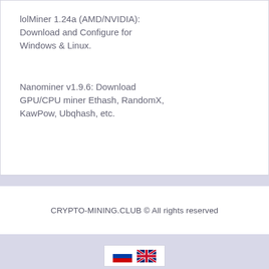lolMiner 1.24a (AMD/NVIDIA): Download and Configure for Windows & Linux.
Nanominer v1.9.6: Download GPU/CPU miner Ethash, RandomX, KawPow, Ubqhash, etc.
CRYPTO-MINING.CLUB © All rights reserved
[Figure (other): Language selector with Russian and UK flag icons]